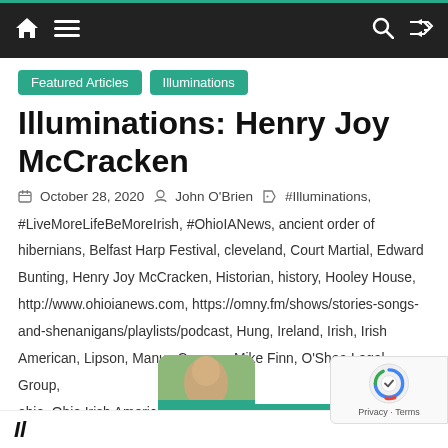Navigation bar with home, menu, search, and shuffle icons
Featured Articles
Illuminations
Illuminations: Henry Joy McCracken
October 28, 2020   John O'Brien   #Illuminations, #LiveMoreLifeBeMoreIrish, #OhioIANews, ancient order of hibernians, Belfast Harp Festival, cleveland, Court Martial, Edward Bunting, Henry Joy McCracken, Historian, history, Hooley House, http://www.ohioianews.com, https://omny.fm/shows/stories-songs-and-shenanigans/playlists/podcast, Hung, Ireland, Irish, Irish American, Lipson, Manus Conway, Mike Finn, O'Shea Legal Group, ohio, Ohio Irish American News, roots, safe home, shenanigans, The Year of Liberty, United Irishmen
[Figure (photo): Partial thumbnail photo of a person outdoors with green background and teal bar below]